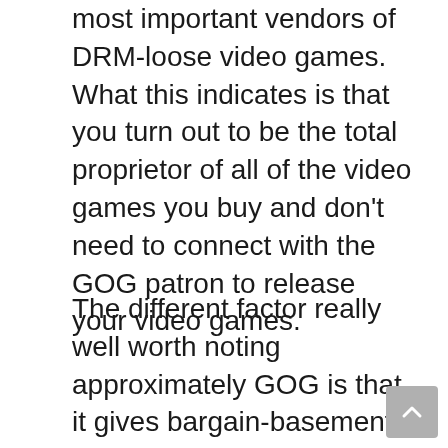most important vendors of DRM-loose video games. What this indicates is that you turn out to be the total proprietor of all of the video games you buy and don't need to connect with the GOG patron to release your video games.
The different factor really well worth noting approximately GOG is that it gives bargain-basement reductions on video games launched simply one or months earlier. If you don't trust us, simply visit the GOG homepage to locate reductions of 20% to 90% on